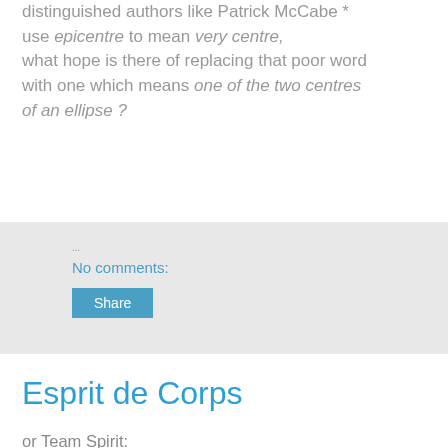distinguished authors like Patrick McCabe * use epicentre to mean very centre, what hope is there of replacing that poor word with one which means one of the two centres of an ellipse ?
No comments:
Share
Esprit de Corps
or Team Spirit:
a most depressing
and distressing word-pair
that soon ends up justifying
gang-rape, pogroms, jihad and war.
No comments: